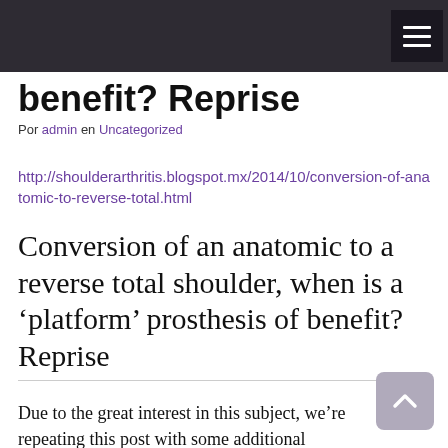benefit? Reprise
Por admin en Uncategorized
http://shoulderarthritis.blogspot.mx/2014/10/conversion-of-anatomic-to-reverse-total.html
Conversion of an anatomic to a reverse total shoulder, when is a ‘platform’ prosthesis of benefit? Reprise
Due to the great interest in this subject, we’re repeating this post with some additional thoughts.